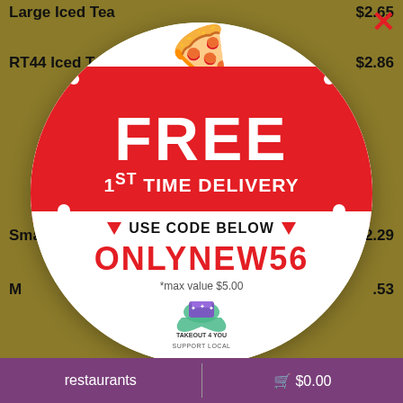Large Iced Tea
RT44 Iced Tea – $2.86
Sma... $2.29
M... .53
Sn... .48
Medium... $2.17
Large Soft... $2.63
[Figure (infographic): Circular promotional overlay with food emoji graphics (pizza slice, ice cream cone, cookie). Red center circle reads 'FREE 1ST TIME DELIVERY'. White lower band reads 'USE CODE BELOW' with downward triangles. Large red text code 'ONLYNEW56' with '*max value $5.00'. Logo for Takeout4You at the bottom.]
USE CODE BELOW
ONLYNEW56
*max value $5.00
restaurants
$0.00